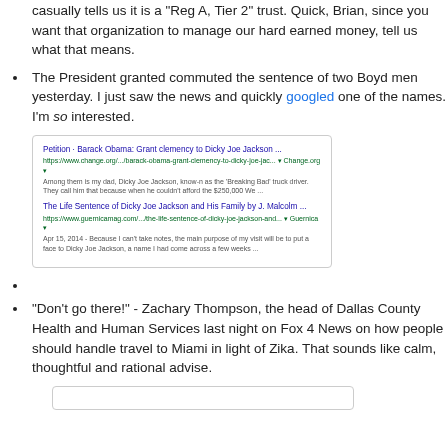WBAP's Brian Estridge is advertising a real estate investment trust named, in an Idiocracy sort of way, as "Rich Uncles". Estridge casually tells us it is a "Reg A, Tier 2" trust. Quick, Brian, since you want that organization to manage our hard earned money, tell us what that means.
The President granted commuted the sentence of two Boyd men yesterday. I just saw the news and quickly googled one of the names. I'm so interested.
[Figure (screenshot): Google search results screenshot showing petition for clemency for Dicky Joe Jackson and article about his life sentence]
"Don't go there!" - Zachary Thompson, the head of Dallas County Health and Human Services last night on Fox 4 News on how people should handle travel to Miami in light of Zika.  That sounds like calm, thoughtful and rational advise.
[Figure (screenshot): Partial screenshot at bottom of page, content not visible]